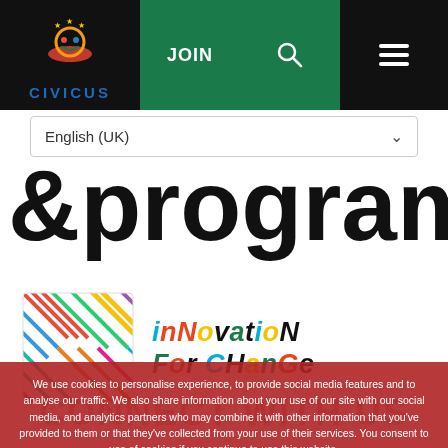[Figure (screenshot): CIVICUS website navigation bar with logo, JOIN button, search icon, and hamburger menu on black background with green Join section]
English (UK)
[Figure (screenshot): Large bold text partial view: &program (or similar large black text cropped)]
[Figure (logo): Innovation for Change logo with colorful geometric square and multicolored italic text 'INNOVATION FOR CHANGE']
CONNECT WITH US
We use cookies to personalise experience, to provide social media features and to analyse our traffic. We also share information about your use of our site with our social media, and analytics partners who may combine it with other information that you've provided to them or that they've collected from your use of their services. You consent to use of cookies if you continue to use this website.
Ok